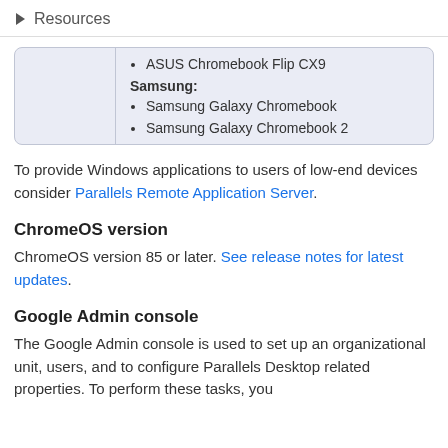Resources
|  | ASUS Chromebook Flip CX9
Samsung:
Samsung Galaxy Chromebook
Samsung Galaxy Chromebook 2 |
To provide Windows applications to users of low-end devices consider Parallels Remote Application Server.
ChromeOS version
ChromeOS version 85 or later. See release notes for latest updates.
Google Admin console
The Google Admin console is used to set up an organizational unit, users, and to configure Parallels Desktop related properties. To perform these tasks, you